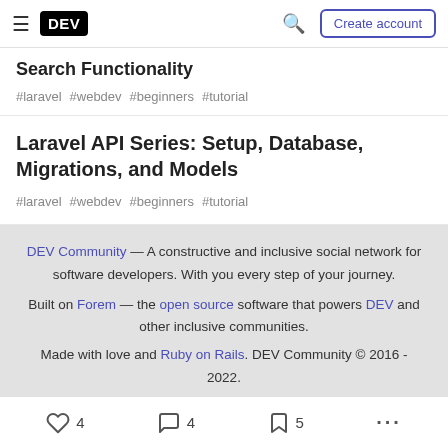DEV | Search | Create account
Search Functionality
#laravel #webdev #beginners #tutorial
Laravel API Series: Setup, Database, Migrations, and Models
#laravel #webdev #beginners #tutorial
DEV Community — A constructive and inclusive social network for software developers. With you every step of your journey. Built on Forem — the open source software that powers DEV and other inclusive communities. Made with love and Ruby on Rails. DEV Community © 2016 - 2022.
4 reactions | 4 comments | 5 saves | ...